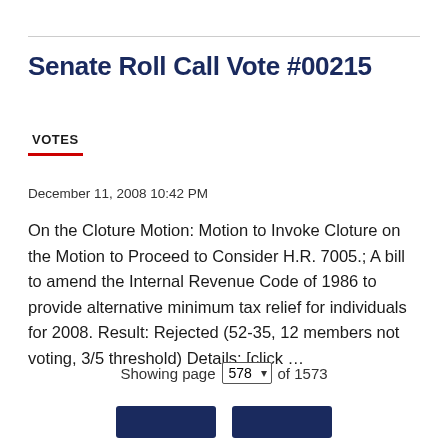Senate Roll Call Vote #00215
VOTES
December 11, 2008 10:42 PM
On the Cloture Motion: Motion to Invoke Cloture on the Motion to Proceed to Consider H.R. 7005.; A bill to amend the Internal Revenue Code of 1986 to provide alternative minimum tax relief for individuals for 2008. Result: Rejected (52-35, 12 members not voting, 3/5 threshold) Details: [click …
Showing page 578 of 1573